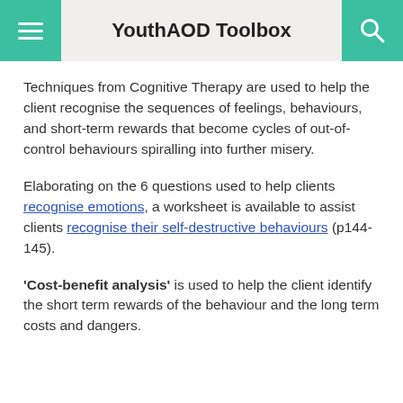YouthAOD Toolbox
Techniques from Cognitive Therapy are used to help the client recognise the sequences of feelings, behaviours, and short-term rewards that become cycles of out-of-control behaviours spiralling into further misery.
Elaborating on the 6 questions used to help clients recognise emotions, a worksheet is available to assist clients recognise their self-destructive behaviours (p144-145).
'Cost-benefit analysis' is used to help the client identify the short term rewards of the behaviour and the long term costs and dangers.